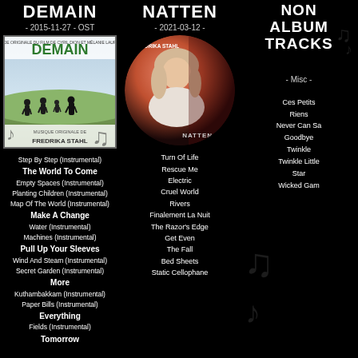DEMAIN
- 2015-11-27 - OST
[Figure (photo): Album cover of Demain soundtrack by Fredrika Stahl showing silhouettes of people walking on a field]
Step By Step (Instrumental)
The World To Come
Empty Spaces (Instrumental)
Planting Children (Instrumental)
Map Of The World (Instrumental)
Make A Change
Water (Instrumental)
Machines (Instrumental)
Pull Up Your Sleeves
Wind And Steam (Instrumental)
Secret Garden (Instrumental)
More
Kuthambakkam (Instrumental)
Paper Bills (Instrumental)
Everything
Fields (Instrumental)
NATTEN
- 2021-03-12 -
[Figure (photo): Album cover of Natten by Fredrika Stahl showing a circular portrait with warm red lighting, woman with blonde hair]
Turn Of Life
Rescue Me
Electric
Cruel World
Rivers
Finalement La Nuit
The Razor’s Edge
Get Even
The Fall
Bed Sheets
Static Cellophane
NON ALBUM TRACKS
- Misc -
Ces Petits Riens
Never Can Say Goodbye
Twinkle Twinkle Little Star
Wicked Game